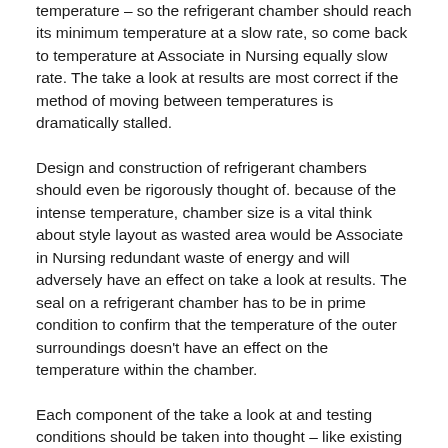temperature – so the refrigerant chamber should reach its minimum temperature at a slow rate, so come back to temperature at Associate in Nursing equally slow rate. The take a look at results are most correct if the method of moving between temperatures is dramatically stalled.
Design and construction of refrigerant chambers should even be rigorously thought of. because of the intense temperature, chamber size is a vital think about style layout as wasted area would be Associate in Nursing redundant waste of energy and will adversely have an effect on take a look at results. The seal on a refrigerant chamber has to be in prime condition to confirm that the temperature of the outer surroundings doesn't have an effect on the temperature within the chamber.
Each component of the take a look at and testing conditions should be taken into thought – like existing surroundings and climate, the potential addition of interior chamber lighting and therefore additional heat, and also the variations that exist already